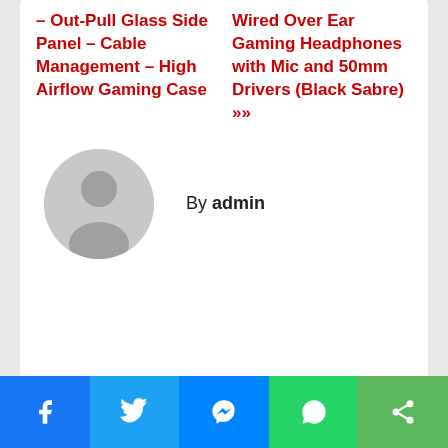– Out-Pull Glass Side Panel – Cable Management – High Airflow Gaming Case
Braided Cable USB Wired Over Ear Gaming Headphones with Mic and 50mm Drivers (Black Sabre) »»
[Figure (illustration): Circular avatar placeholder with grey background and white silhouette of a person]
By admin
[Figure (infographic): Social share bar with Facebook, Twitter, Messenger, WhatsApp, and Share buttons]